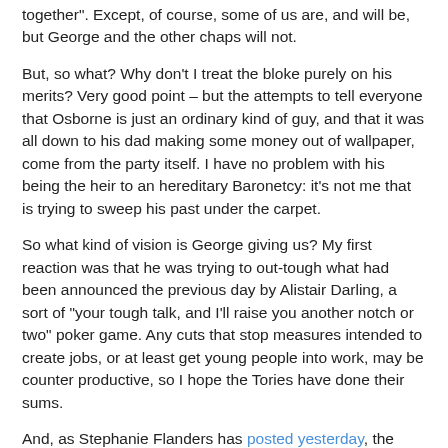together". Except, of course, some of us are, and will be, but George and the other chaps will not.
But, so what? Why don’t I treat the bloke purely on his merits? Very good point – but the attempts to tell everyone that Osborne is just an ordinary kind of guy, and that it was all down to his dad making some money out of wallpaper, come from the party itself. I have no problem with his being the heir to an hereditary Baronetcy: it’s not me that is trying to sweep his past under the carpet.
So what kind of vision is George giving us? My first reaction was that he was trying to out-tough what had been announced the previous day by Alistair Darling, a sort of “your tough talk, and I’ll raise you another notch or two” poker game. Any cuts that stop measures intended to create jobs, or at least get young people into work, may be counter productive, so I hope the Tories have done their sums.
And, as Stephanie Flanders has posted yesterday, the numbers announced so far don’t give the whole picture: the inference of her analysis was that there will have to be more